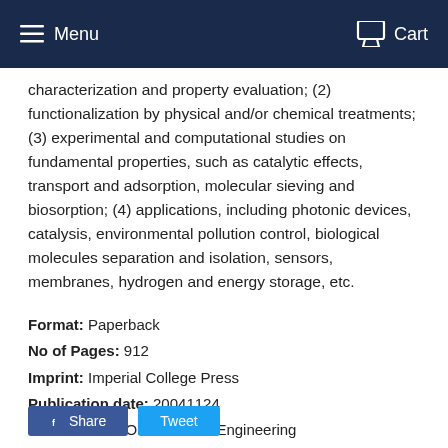Menu   Cart
characterization and property evaluation; (2) functionalization by physical and/or chemical treatments; (3) experimental and computational studies on fundamental properties, such as catalytic effects, transport and adsorption, molecular sieving and biosorption; (4) applications, including photonic devices, catalysis, environmental pollution control, biological molecules separation and isolation, sensors, membranes, hydrogen and energy storage, etc.
Format: Paperback
No of Pages: 912
Imprint: Imperial College Press
Publication date: 20041124
Series: Series On Chemical Engineering